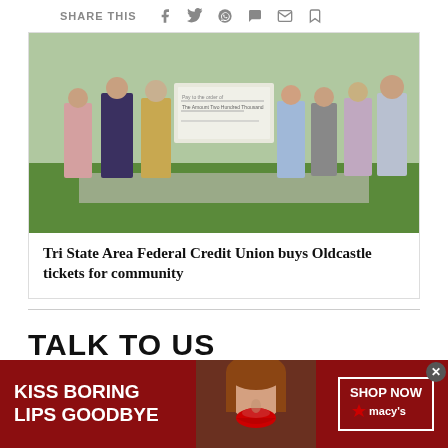SHARE THIS
[Figure (photo): Group of people standing outdoors on grass holding a large ceremonial check, dressed in business and casual attire.]
Tri State Area Federal Credit Union buys Oldcastle tickets for community
TALK TO US
[Figure (photo): Macy's advertisement banner: 'KISS BORING LIPS GOODBYE' with a close-up of a woman's face with red lipstick and a 'SHOP NOW' button with Macy's star logo.]